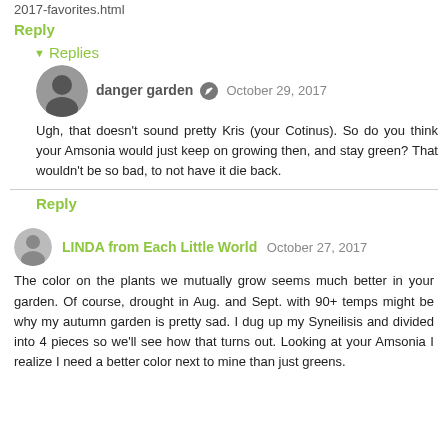2017-favorites.html
Reply
Replies
danger garden  October 29, 2017
Ugh, that doesn't sound pretty Kris (your Cotinus). So do you think your Amsonia would just keep on growing then, and stay green? That wouldn't be so bad, to not have it die back.
Reply
LINDA from Each Little World  October 27, 2017
The color on the plants we mutually grow seems much better in your garden. Of course, drought in Aug. and Sept. with 90+ temps might be why my autumn garden is pretty sad. I dug up my Syneilisis and divided into 4 pieces so we'll see how that turns out. Looking at your Amsonia I realize I need a better color next to mine than just greens.